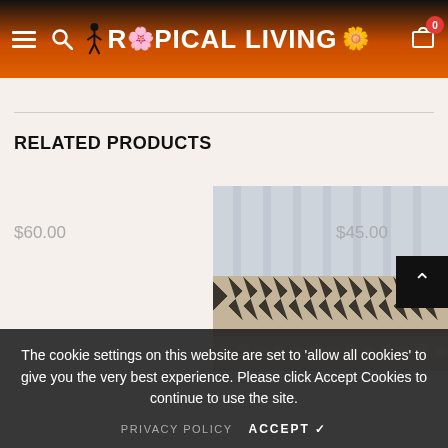Tropical Living — navigation header with hamburger menu, search icon, brand logo, and cart (0 items)
RELATED PRODUCTS
[Figure (photo): Product photo of a woven rug or textile with herringbone pattern and decorative white fringe border]
$60.00
$45.00
The cookie settings on this website are set to 'allow all cookies' to give you the very best experience. Please click Accept Cookies to continue to use the site.
PRIVACY POLICY   ACCEPT ✓